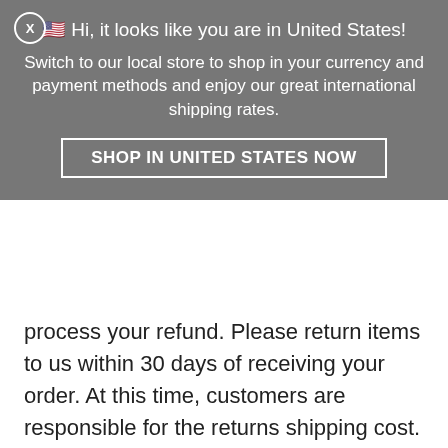[Figure (screenshot): Gray overlay popup banner with US flag emoji saying 'Hi, it looks like you are in United States! Switch to our local store to shop in your currency and payment methods and enjoy our great international shipping rates.' with a 'SHOP IN UNITED STATES NOW' button and an X close button.]
process your refund. Please return items to us within 30 days of receiving your order. At this time, customers are responsible for the returns shipping cost.
INTERNATIONAL EXCHANGES
Due to current stock levels we cannot offer exchanges. So to replace any item that you do not require, simply return it to us for a refund, and place a new order for any replacement items. This means you can be sure the product you would like is in stock, at the price you want, and in the style you need. It is also the fastest